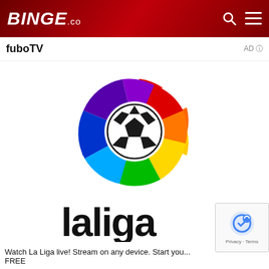BINGE.co
fuboTV
AD
[Figure (logo): La Liga colorful pinwheel logo with a soccer ball in the center, surrounded by segments in purple, red, orange, yellow, green, blue colors]
laliga
Watch La Liga live! Stream on any device. Start you... FREE